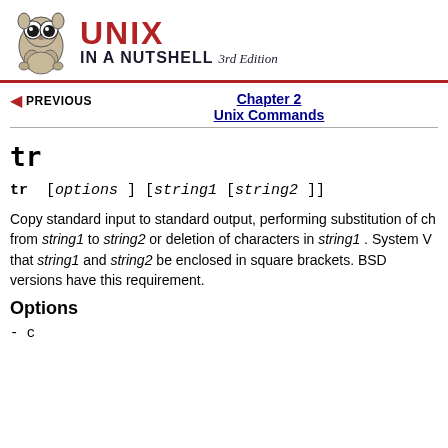UNIX IN A NUTSHELL 3rd Edition
PREVIOUS | Chapter 2 Unix Commands
tr
tr [options] [string1 [string2]]
Copy standard input to standard output, performing substitution of characters from string1 to string2 or deletion of characters in string1 . System V requires that string1 and string2 be enclosed in square brackets. BSD versions do not have this requirement.
Options
-c